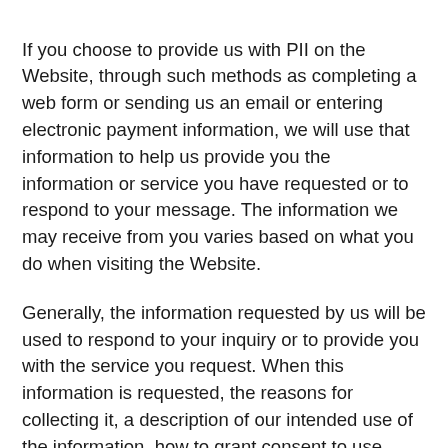If you choose to provide us with PII on the Website, through such methods as completing a web form or sending us an email or entering electronic payment information, we will use that information to help us provide you the information or service you have requested or to respond to your message. The information we may receive from you varies based on what you do when visiting the Website.
Generally, the information requested by us will be used to respond to your inquiry or to provide you with the service you request. When this information is requested, the reasons for collecting it, a description of our intended use of the information, how to grant consent to use mandatorily provided information, and how to grant consent for other than statutorily